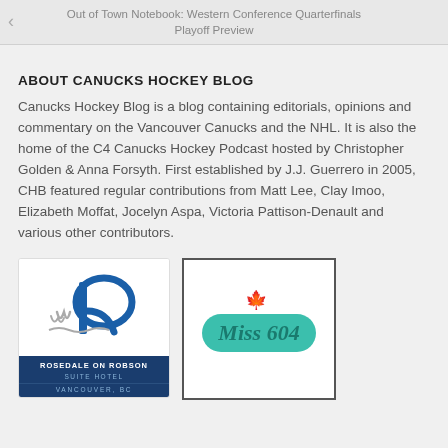Out of Town Notebook: Western Conference Quarterfinals Playoff Preview
ABOUT CANUCKS HOCKEY BLOG
Canucks Hockey Blog is a blog containing editorials, opinions and commentary on the Vancouver Canucks and the NHL. It is also the home of the C4 Canucks Hockey Podcast hosted by Christopher Golden & Anna Forsyth. First established by J.J. Guerrero in 2005, CHB featured regular contributions from Matt Lee, Clay Imoo, Elizabeth Moffat, Jocelyn Aspa, Victoria Pattison-Denault and various other contributors.
[Figure (logo): Rosedale on Robson Suite Hotel logo with stylized R letter and text ROSEDALE ON ROBSON SUITE HOTEL VANCOUVER, BC on dark blue background]
[Figure (logo): Miss 604 logo with cursive green text and red maple leaf decorations]